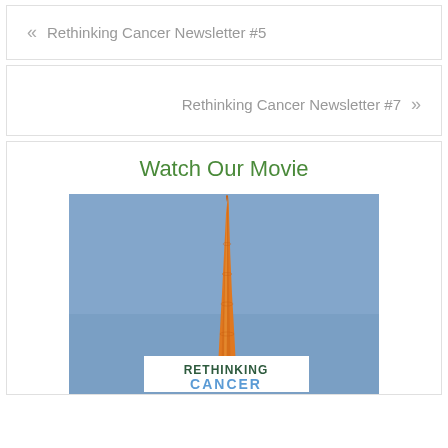« Rethinking Cancer Newsletter #5
Rethinking Cancer Newsletter #7 »
Watch Our Movie
[Figure (photo): Movie poster for Rethinking Cancer showing a tall orange carrot against a blue sky background, with 'RETHINKING CANCER' text overlay at the bottom]